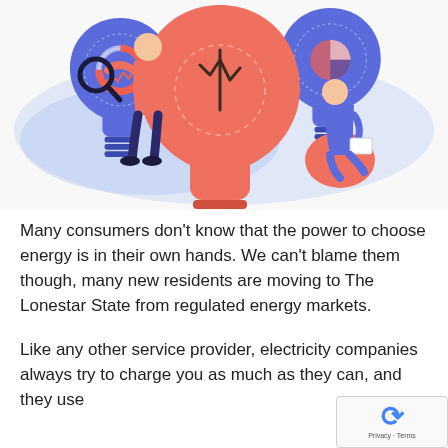[Figure (illustration): Colorful flat illustration showing three light bulbs (two blue/purple, one large coral/pink in the center) with charts inside them. A person holding a magnifying glass stands on the left, and another person sits reading on the right, on a light blue abstract background.]
Many consumers don't know that the power to choose energy is in their own hands. We can't blame them though, many new residents are moving to The Lonestar State from regulated energy markets.
Like any other service provider, electricity companies always try to charge you as much as they can, and they use